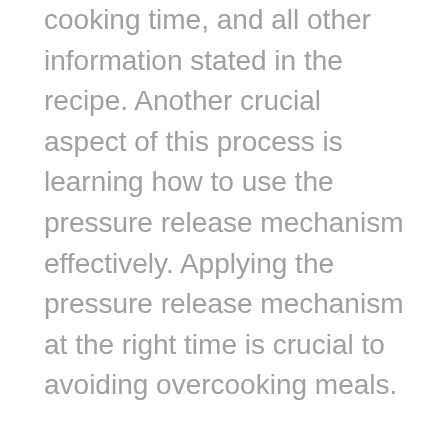cooking time, and all other information stated in the recipe. Another crucial aspect of this process is learning how to use the pressure release mechanism effectively. Applying the pressure release mechanism at the right time is crucial to avoiding overcooking meals.
If you notice that the recipe you have chosen to adapt to pressure cooking requires much water, it will be necessary to reduce the quantity because pressure cooking is faster and there is no room for evaporation, which happens when you use regular pots. Pressure cookers have a marking that indicates the recommended level of water when you cook. This mark should be